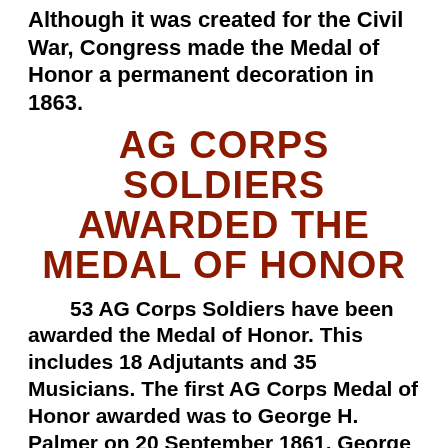Although it was created for the Civil War, Congress made the Medal of Honor a permanent decoration in 1863.
AG CORPS SOLDIERS AWARDED THE MEDAL OF HONOR
53 AG Corps Soldiers have been awarded the Medal of Honor. This includes 18 Adjutants and 35 Musicians. The first AG Corps Medal of Honor awarded was to George H. Palmer on 20 September 1861. George Palmer volunteered to fight in the trenches at Lexington, MO during the Civil War and led a charge which resulted in the